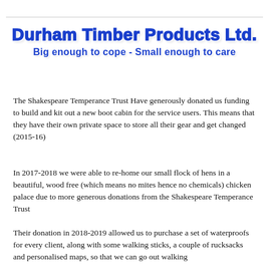Durham Timber Products Ltd.
Big enough to cope - Small enough to care
The Shakespeare Temperance Trust Have generously donated us funding to build and kit out a new boot cabin for the service users. This means that they have their own private space to store all their gear and get changed (2015-16)
In 2017-2018 we were able to re-home our small flock of hens in a beautiful, wood free (which means no mites hence no chemicals) chicken palace due to more generous donations from the Shakespeare Temperance Trust
Their donation in 2018-2019 allowed us to purchase a set of waterproofs for every client, along with some walking sticks, a couple of rucksacks and personalised maps, so that we can go out walking